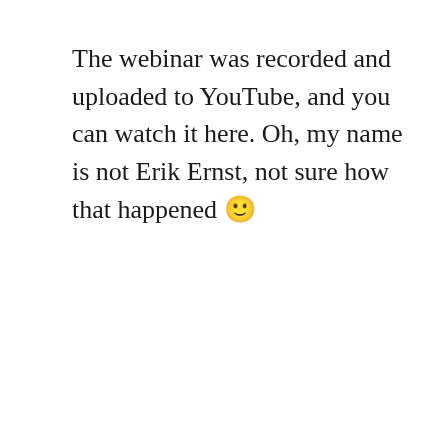The webinar was recorded and uploaded to YouTube, and you can watch it here. Oh, my name is not Erik Ernst, not sure how that happened 🙂